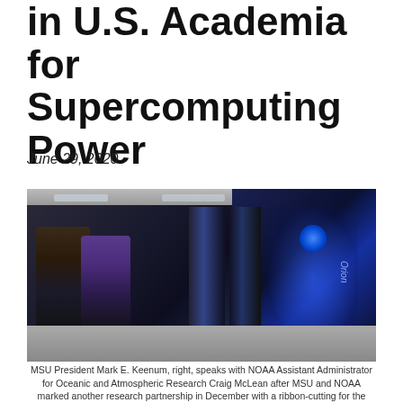in U.S. Academia for Supercomputing Power
June 29, 2020
[Figure (photo): Two men standing in a data center server room, speaking in front of large server racks. The right side shows a large blue-lit server rack labeled 'Orion' with the NOAA logo visible.]
MSU President Mark E. Keenum, right, speaks with NOAA Assistant Administrator for Oceanic and Atmospheric Research Craig McLean after MSU and NOAA marked another research partnership in December with a ribbon-cutting for the Orion supercomputer at MSU. Orion is the fourth most powerful academic data center in the